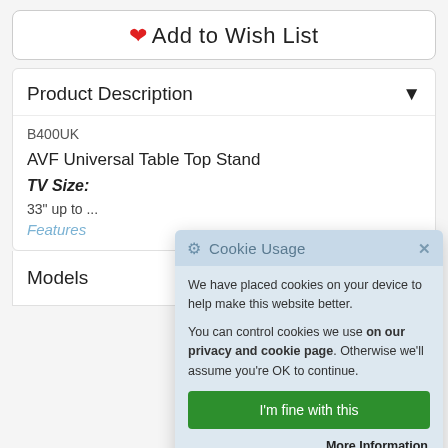♡ Add to Wish List
Product Description
B400UK
AVF Universal Table Top Stand
TV Size:
33" up to ...
Features
Models
Cookie Usage
We have placed cookies on your device to help make this website better.
You can control cookies we use on our privacy and cookie page. Otherwise we'll assume you're OK to continue.
I'm fine with this
More Information